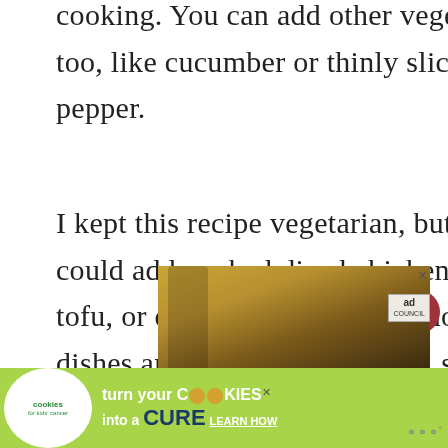cooking. You can add other vegetables too, like cucumber or thinly sliced red pepper.
I kept this recipe vegetarian, but you could add cooked diced chicken or tofu, or even chickpeas. Soba noodle dishes are really customizable, so don't feel limited by the recipe!
[Figure (other): Ad banner showing people at an event with a yellow/gold background and an 'ad council' tag. Below is a green 'Cookies for Kids Cancer' advertisement: 'turn your COOKIES into a CURE LEARN HOW']